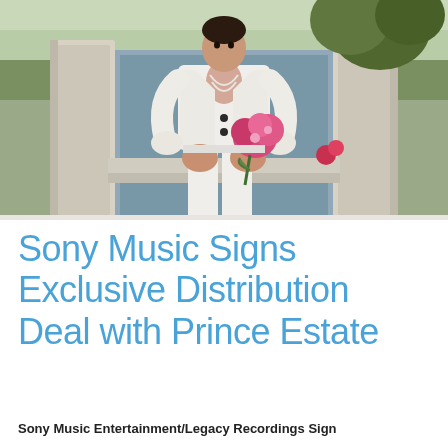[Figure (photo): A person dressed in all white outfit holding pink flowers, standing in front of white architectural columns/window frame with a garden background]
Sony Music Signs Exclusive Distribution Deal with Prince Estate
Sony Music Entertainment/Legacy Recordings Sign